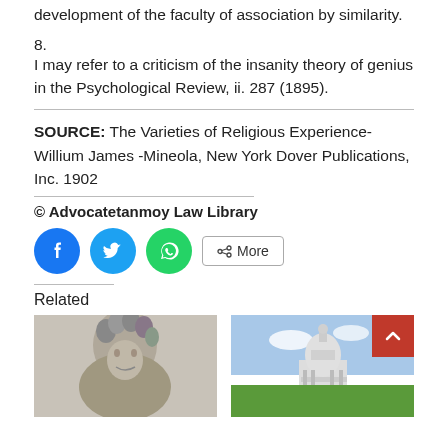development of the faculty of association by similarity.
8.
I may refer to a criticism of the insanity theory of genius in the Psychological Review, ii. 287 (1895).
SOURCE: The Varieties of Religious Experience-Willium James -Mineola, New York Dover Publications, Inc. 1902
© Advocatetanmoy Law Library
[Figure (infographic): Social share buttons: Facebook (blue circle), Twitter (light blue circle), WhatsApp (green circle), and a More button with share icon]
Related
[Figure (photo): Black and white photo of a classical sculpture of a curly-haired figure (left)]
[Figure (photo): Photo of the US Capitol building with green lawn (right), with a red scroll-to-top button overlaid]